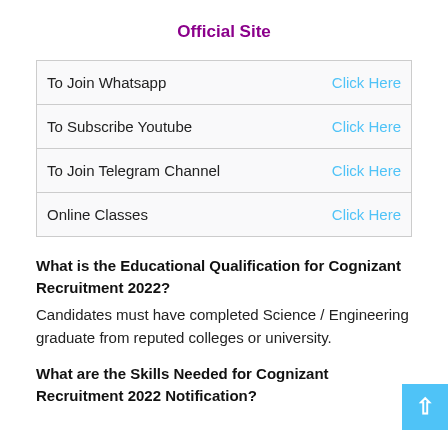Official Site
| To Join Whatsapp | Click Here |
| To Subscribe Youtube | Click Here |
| To Join Telegram Channel | Click Here |
| Online Classes | Click Here |
What is the Educational Qualification for Cognizant Recruitment 2022?
Candidates must have completed Science / Engineering graduate from reputed colleges or university.
What are the Skills Needed for Cognizant Recruitment 2022 Notification?